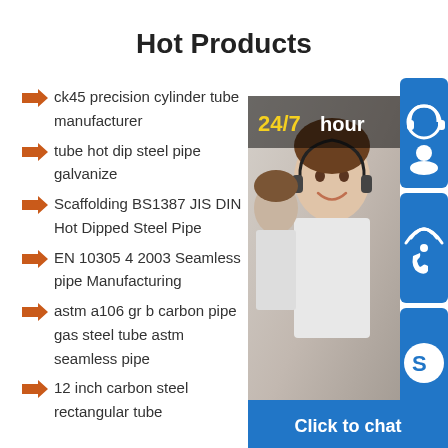Hot Products
ck45 precision cylinder tube manufacturer
tube hot dip steel pipe galvanize
Scaffolding BS1387 JIS DIN Hot Dipped Steel Pipe
EN 10305 4 2003 Seamless pipe Manufacturing
astm a106 gr b carbon pipe gas steel tube astm seamless pipe
12 inch carbon steel rectangular tube
[Figure (infographic): Customer service infographic with photo of smiling call center agent, '24/7 hour' badge, three blue icon boxes (headset, phone, Skype), and 'Click to chat' button at bottom]